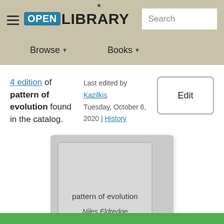OPEN LIBRARY
4 edition of pattern of evolution found in the catalog.
Last edited by Kazilkis
Tuesday, October 6, 2020 | History
Edit
[Figure (illustration): Book cover placeholder showing 'pattern of evolution' by Niles Eldredge on a gray background]
pattern of evolution
Niles Eldredge